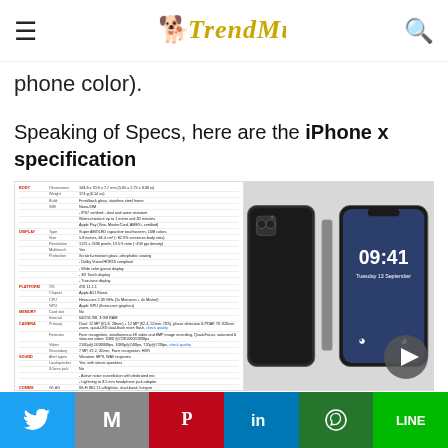TrendMut
phone color).
Speaking of Specs, here are the iPhone x specification
[Figure (table-as-image): iPhone X specification table with categories: BODY, DISPLAY, PLATFORM, MEMORY, CAMERA, SOUND, COMMS. Shows dimensions, weight, build, OS, chipset, GPU, RAM, storage, camera details, audio, and connectivity specs.]
[Figure (photo): iPhone X shown from back and side view in space gray, plus front view showing lock screen at 09:41 Tuesday 13 September]
Twitter | Gmail | Pinterest | LinkedIn | WhatsApp | Line